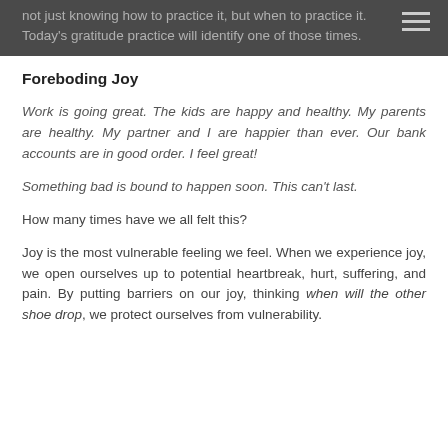not just knowing how to practice it, but when to practice it. Today's gratitude practice will identify one of those times.
Foreboding Joy
Work is going great. The kids are happy and healthy. My parents are healthy. My partner and I are happier than ever. Our bank accounts are in good order. I feel great!
Something bad is bound to happen soon. This can't last.
How many times have we all felt this?
Joy is the most vulnerable feeling we feel. When we experience joy, we open ourselves up to potential heartbreak, hurt, suffering, and pain. By putting barriers on our joy, thinking when will the other shoe drop, we protect ourselves from vulnerability.